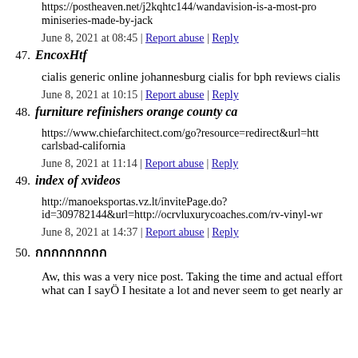https://postheaven.net/j2kqhtc144/wandavision-is-a-most-promising-miniseries-made-by-jack
June 8, 2021 at 08:45 | Report abuse | Reply
47. EncoxHtf
cialis generic online johannesburg cialis for bph reviews cialis
June 8, 2021 at 10:15 | Report abuse | Reply
48. furniture refinishers orange county ca
https://www.chiefarchitect.com/go?resource=redirect&url=http carlsbad-california
June 8, 2021 at 11:14 | Report abuse | Reply
49. index of xvideos
http://manoeksportas.vz.lt/invitePage.do?id=309782144&url=http://ocrvluxurycoaches.com/rv-vinyl-wr
June 8, 2021 at 14:37 | Report abuse | Reply
50. กกกกกกกกก
Aw, this was a very nice post. Taking the time and actual effort what can I sayÖ I hesitate a lot and never seem to get nearly ar